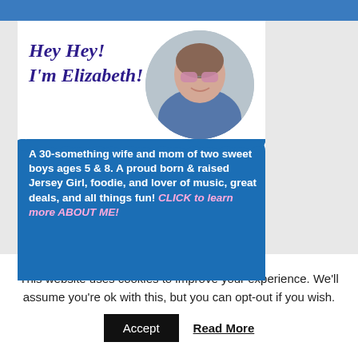[Figure (illustration): Blog author promo card with circular photo of woman (Elizabeth) wearing sunglasses and a denim jacket, cursive text 'Hey Hey! I'm Elizabeth!' in purple on white background, and blue brush-stroke background with bio text below.]
A 30-something wife and mom of two sweet boys ages 5 & 8. A proud born & raised Jersey Girl, foodie, and lover of music, great deals, and all things fun! CLICK to learn more ABOUT ME!
This website uses cookies to improve your experience. We'll assume you're ok with this, but you can opt-out if you wish.
Accept
Read More